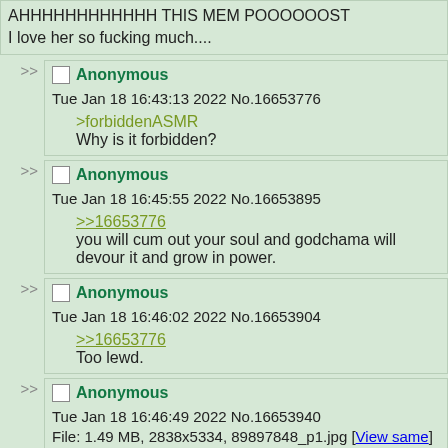AHHHHHHHHHHHH THIS MEM POOOOOOST
I love her so fucking much....
>> Anonymous Tue Jan 18 16:43:13 2022 No.16653776
>forbiddenASMR
Why is it forbidden?
>> Anonymous Tue Jan 18 16:45:55 2022 No.16653895
>>16653776
you will cum out your soul and godchama will devour it and grow in power.
>> Anonymous Tue Jan 18 16:46:02 2022 No.16653904
>>16653776
Too lewd.
>> Anonymous Tue Jan 18 16:46:49 2022 No.16653940
File: 1.49 MB, 2838x5334, 89897848_p1.jpg [View same] [iqdb] [saucenao] [google]